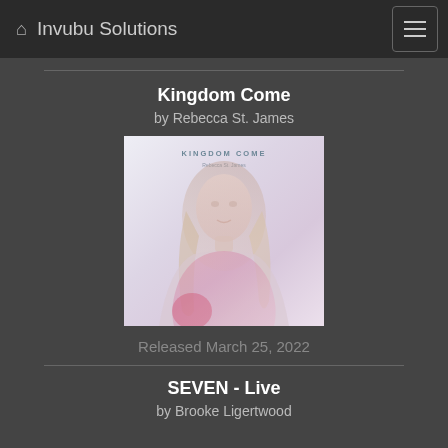Invubu Solutions
Kingdom Come
by Rebecca St. James
[Figure (photo): Album cover for Kingdom Come by Rebecca St. James, showing a woman with long hair wearing a colorful scarf, faded/washed out photographic style with text KINGDOM COME and Rebecca St. James at the top]
Released March 25, 2022
SEVEN - Live
by Brooke Ligertwood